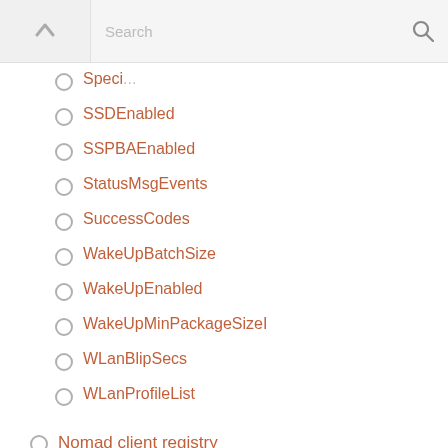Search
SpecialNetworks (partially visible)
SSDEnabled
SSPBAEnabled
StatusMsgEvents
SuccessCodes
WakeUpBatchSize
WakeUpEnabled
WakeUpMinPackageSizeI
WLanBlipSecs
WLanProfileList
Nomad client registry values and installer properties